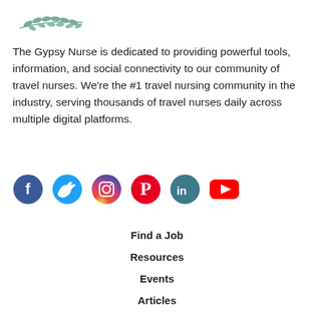[Figure (illustration): Decorative botanical branch/leaf illustration in teal/grey color at top left]
The Gypsy Nurse is dedicated to providing powerful tools, information, and social connectivity to our community of travel nurses. We're the #1 travel nursing community in the industry, serving thousands of travel nurses daily across multiple digital platforms.
[Figure (infographic): Row of social media icons: Facebook (dark blue circle), Twitter (light blue circle), Instagram (gradient circle), Pinterest (red circle), LinkedIn (teal circle), YouTube (red rounded rectangle)]
Find a Job
Resources
Events
Articles
Submit Reviews